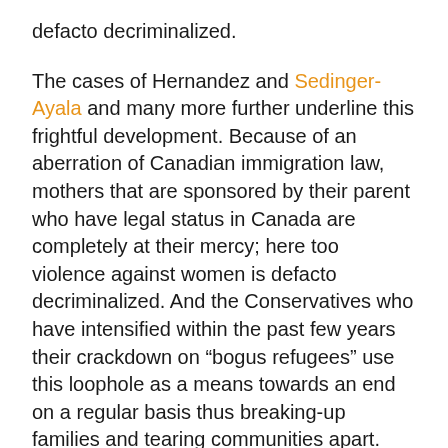defacto decriminalized.
The cases of Hernandez and Sedinger-Ayala and many more further underline this frightful development. Because of an aberration of Canadian immigration law, mothers that are sponsored by their parent who have legal status in Canada are completely at their mercy; here too violence against women is defacto decriminalized. And the Conservatives who have intensified within the past few years their crackdown on “bogus refugees” use this loophole as a means towards an end on a regular basis thus breaking-up families and tearing communities apart.
So it seems that the Conservative crusade of “traditional families values” got stuck in a moment and can't get out of it, that moment being the 1920s. Single-mother families are completely omitted by this current Conservative government and yet single mothers are